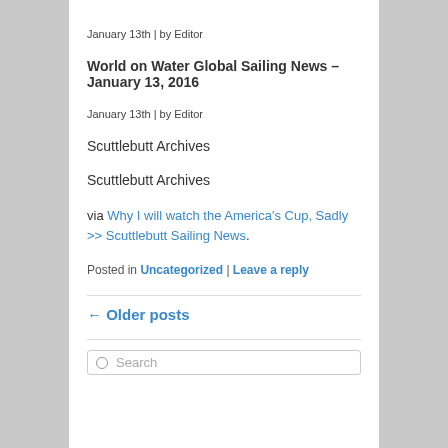January 13th | by Editor
World on Water Global Sailing News – January 13, 2016
January 13th | by Editor
Scuttlebutt Archives
Scuttlebutt Archives
via Why I will watch the America's Cup, Sadly >> Scuttlebutt Sailing News.
Posted in Uncategorized | Leave a reply
← Older posts